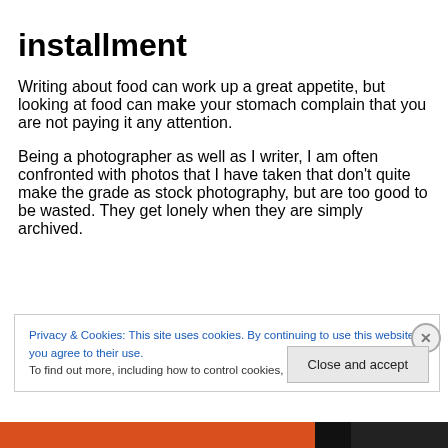installment
Writing about food can work up a great appetite, but looking at food can make your stomach complain that you are not paying it any attention.
Being a photographer as well as I writer, I am often confronted with photos that I have taken that don't quite make the grade as stock photography, but are too good to be wasted. They get lonely when they are simply archived.
Privacy & Cookies: This site uses cookies. By continuing to use this website, you agree to their use.
To find out more, including how to control cookies, see here: Cookie Policy
Close and accept